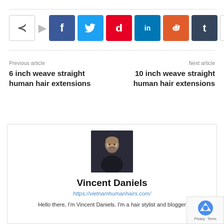[Figure (infographic): Social media share buttons bar: share icon, Facebook (f), Twitter (bird), Pinterest (p), LinkedIn (in), Reddit (alien), Tumblr (t), More (+)]
Previous article
6 inch weave straight human hair extensions
Next article
10 inch weave straight human hair extensions
[Figure (photo): Portrait photo of a bearded man with short hair against a dark background]
Vincent Daniels
https://vietnamhumanhairs.com/
Hello there, I'm Vincent Daniels. I'm a hair stylist and blogger